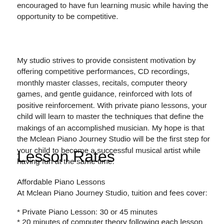encouraged to have fun learning music while having the opportunity to be competitive.
My studio strives to provide consistent motivation by offering competitive performances, CD recordings, monthly master classes, recitals, computer theory games, and gentle guidance, reinforced with lots of positive reinforcement. With private piano lessons, your child will learn to master the techniques that define the makings of an accomplished musician. My hope is that the Mclean Piano Journey Studio will be the first step for your child to become a successful musical artist while having fun at the same time.
Lesson Rates
Affordable Piano Lessons
At Mclean Piano Journey Studio, tuition and fees cover:
* Private Piano Lesson: 30 or 45 minutes
* 20 minutes of computer theory following each lesson